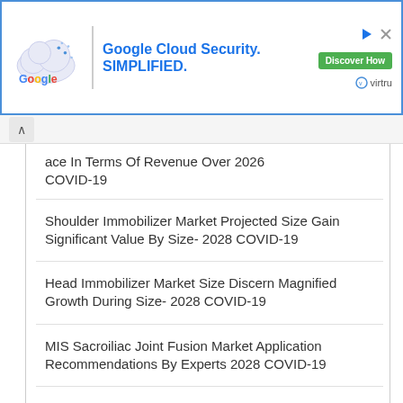[Figure (other): Google Cloud Security advertisement banner with Google logo, cloud graphic, 'Discover How' button, and Virtru logo. Text reads: 'Google Cloud Security. SIMPLIFIED.']
ace In Terms Of Revenue Over 2026 COVID-19
Shoulder Immobilizer Market Projected Size Gain Significant Value By Size- 2028 COVID-19
Head Immobilizer Market Size Discern Magnified Growth During Size- 2028 COVID-19
MIS Sacroiliac Joint Fusion Market Application Recommendations By Experts 2028 COVID-19
Auto-Retractable Safety Syringes Market